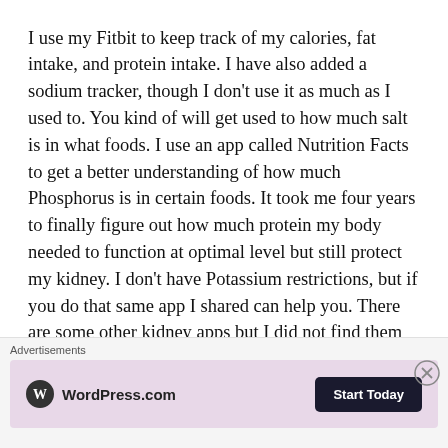I use my Fitbit to keep track of my calories, fat intake, and protein intake. I have also added a sodium tracker, though I don't use it as much as I used to. You kind of will get used to how much salt is in what foods. I use an app called Nutrition Facts to get a better understanding of how much Phosphorus is in certain foods. It took me four years to finally figure out how much protein my body needed to function at optimal level but still protect my kidney. I don't have Potassium restrictions, but if you do that same app I shared can help you. There are some other kidney apps but I did not find them user friendly. If you don't
Advertisements
[Figure (other): WordPress.com advertisement banner with logo and 'Start Today' button on a pink/mauve background]